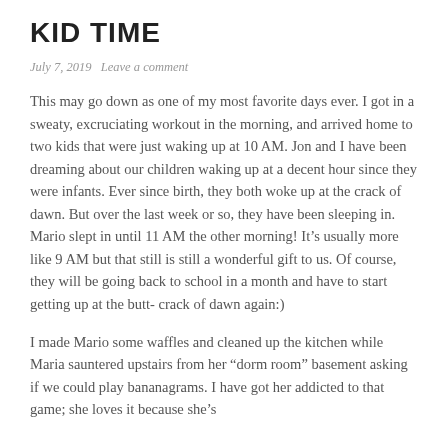KID TIME
July 7, 2019   Leave a comment
This may go down as one of my most favorite days ever. I got in a sweaty, excruciating workout in the morning, and arrived home to two kids that were just waking up at 10 AM. Jon and I have been dreaming about our children waking up at a decent hour since they were infants. Ever since birth, they both woke up at the crack of dawn. But over the last week or so, they have been sleeping in. Mario slept in until 11 AM the other morning! It’s usually more like 9 AM but that still is still a wonderful gift to us. Of course, they will be going back to school in a month and have to start getting up at the butt- crack of dawn again:)
I made Mario some waffles and cleaned up the kitchen while Maria sauntered upstairs from her “dorm room” basement asking if we could play bananagrams. I have got her addicted to that game; she loves it because she’s